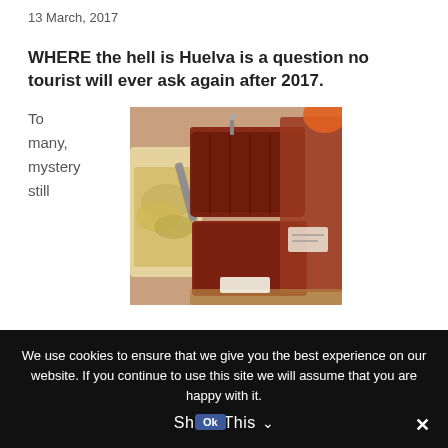13 March, 2017
WHERE the hell is Huelva is a question no tourist will ever ask again after 2017.
To many, mystery still
[Figure (photo): Close-up photo of large blocks of cured tuna or similar preserved fish/meat product on a market display, dark reddish-brown color, with a white tray of yellowish food items visible on the left and an orange item in the top right.]
We use cookies to ensure that we give you the best experience on our website. If you continue to use this site we will assume that you are happy with it.
Share This